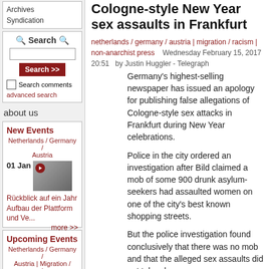Archives
Syndication
Search
Search comments
advanced search
about us
New Events
Netherlands / Germany / Austria
01 Jan
Rückblick auf ein Jahr Aufbau der Plattform und Ve...
more >>
Upcoming Events
Netherlands / Germany / Austria | Migration / racism
No upcoming events.
Other Press
Cologne-style New Year sex assaults in Frankfurt
netherlands / germany / austria | migration / racism | non-anarchist press   Wednesday February 15, 2017 20:51   by Justin Huggler - Telegraph
Germany's highest-selling newspaper has issued an apology for publishing false allegations of Cologne-style sex attacks in Frankfurt during New Year celebrations.
Police in the city ordered an investigation after Bild claimed a mob of some 900 drunk asylum-seekers had assaulted women on one of the city's best known shopping streets.
But the police investigation found conclusively that there was no mob and that the alleged sex assaults did not take place.
“The allegations are baseless and entirely without grounds,” the Frankfurt police said in a statement on Tuesday. “This is the conclusion of an intensive and exhaustive police investigation.”
Bild claimed hundreds of asylum-seekers travelled to Frankfurt on New Year's Eve and massed in the area...